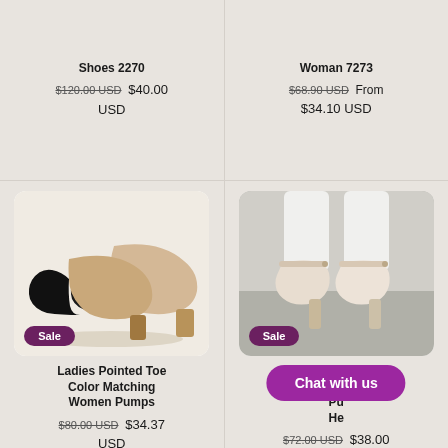Shoes 2270
$120.00 USD  $40.00 USD
Woman 7273
$68.90 USD  From $34.10 USD
[Figure (photo): Pair of beige/nude block heel pumps with black cap toe, displayed on white background]
Sale
[Figure (photo): Close-up of woman's feet wearing cream/beige Mary Jane ankle strap high heels, standing on grey floor]
Sale
Ladies Pointed Toe Color Matching Women Pumps
$80.00 USD  $34.37 USD
Ankle Straps Wo... Pu... He...
Chat with us
$72.00 USD  $38.00